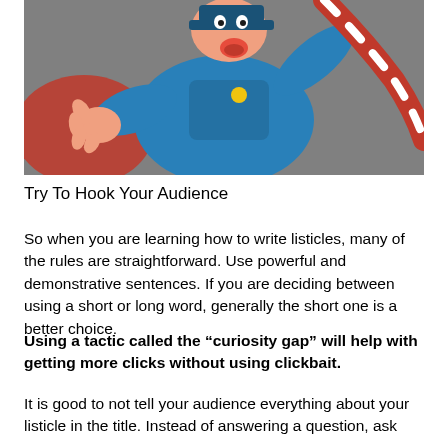[Figure (illustration): Cartoon illustration of a police officer or character in a blue uniform being pulled by a red and white twisted rope or candy cane shape, set against a grey background. The character has an exaggerated expression and reaching hand.]
Try To Hook Your Audience
So when you are learning how to write listicles, many of the rules are straightforward. Use powerful and demonstrative sentences. If you are deciding between using a short or long word, generally the short one is a better choice.
Using a tactic called the “curiosity gap” will help with getting more clicks without using clickbait.
It is good to not tell your audience everything about your listicle in the title. Instead of answering a question, ask